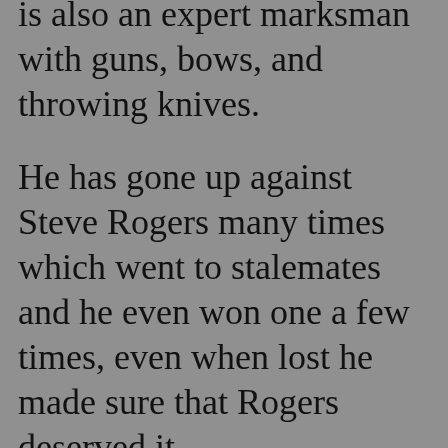is also an expert marksman with guns, bows, and throwing knives.
He has gone up against Steve Rogers many times which went to stalemates and he even won one a few times, even when lost he made sure that Rogers deserved it.
He has also gone up against DD as well, took a shot at Kingpin